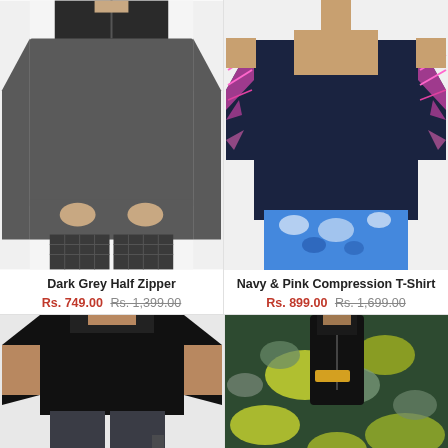[Figure (photo): Man wearing dark grey half zipper long sleeve athletic top with plaid pants]
Dark Grey Half Zipper
Rs. 749.00 Rs. 1,399.00
[Figure (photo): Man wearing navy and pink compression t-shirt with patterned blue shorts]
Navy & Pink Compression T-Shirt
Rs. 899.00 Rs. 1,699.00
[Figure (photo): Man wearing black athletic t-shirt and dark grey pants with logo]
[Figure (photo): Man wearing camouflage green and yellow long sleeve compression top with zipper]